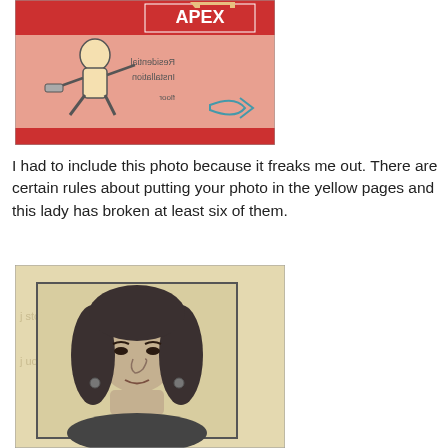[Figure (photo): Scanned yellow pages advertisement for APEX with a cartoon figure of a person kneeling and holding tools, on a pink/red background with text including 'APEX', 'Residential', 'Installation', 'floor', and a fish symbol]
I had to include this photo because it freaks me out. There are certain rules about putting your photo in the yellow pages and this lady has broken at least six of them.
[Figure (photo): Scanned newspaper or yellow pages photo of a woman with dark curly hair, looking at the camera, printed in black and white newsprint style on yellowed paper background]